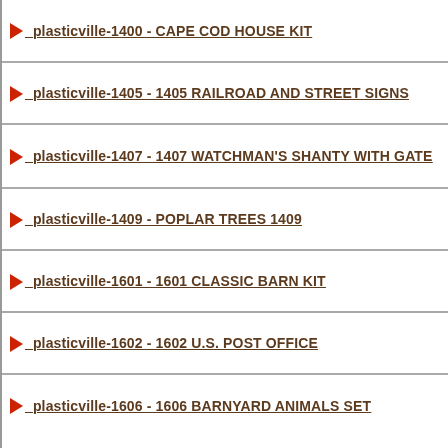_plasticville-1400 - CAPE COD HOUSE KIT
_plasticville-1405 - 1405 RAILROAD AND STREET SIGNS
_plasticville-1407 - 1407 WATCHMAN'S SHANTY WITH GATE
_plasticville-1409 - POPLAR TREES 1409
_plasticville-1601 - 1601 CLASSIC BARN KIT
_plasticville-1602 - 1602 U.S. POST OFFICE
_plasticville-1606 - 1606 BARNYARD ANIMALS SET